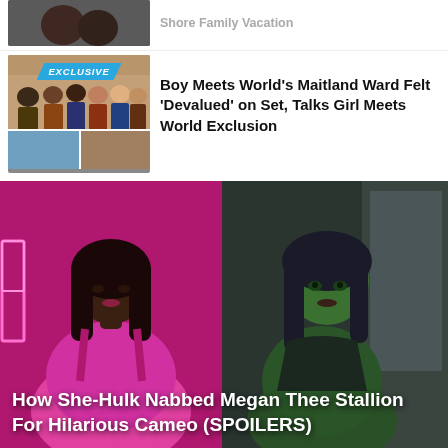[Figure (photo): Partial top article thumbnail image (cropped) with couple photo]
Shore Family Vacation (partial, cropped at top)
[Figure (photo): Boy Meets World cast group photo thumbnail with EXCLUSIVE badge]
Boy Meets World's Maitland Ward Felt 'Devalued' on Set, Talks Girl Meets World Exclusion
[Figure (photo): Large composite image: left half shows Megan Thee Stallion in pink dress, right half shows She-Hulk (green character)]
How She-Hulk Nabbed Megan Thee Stallion For Hilarious Cameo (SPOILERS)